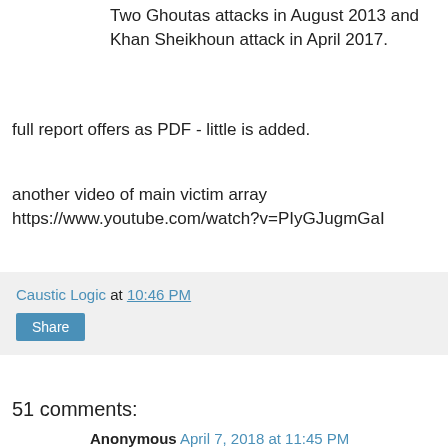Two Ghoutas attacks in August 2013 and Khan Sheikhoun attack in April 2017.
full report offers as PDF - little is added.
another video of main victim array https://www.youtube.com/watch?v=PIyGJugmGaI
Caustic Logic at 10:46 PM
Share
51 comments:
Anonymous April 7, 2018 at 11:45 PM
A couple of options.
1.  They died of other causes and were 'cosmetically enhanced' before / during being placed in the location. In